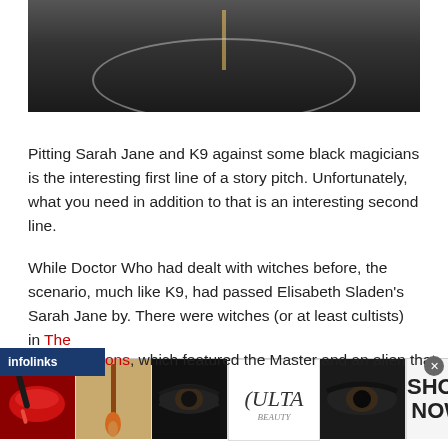[Figure (photo): Dark atmospheric photo showing what appears to be a film set or scene with dark stones/rubble and lighting equipment, with a circular reflective element visible]
Pitting Sarah Jane and K9 against some black magicians is the interesting first line of a story pitch. Unfortunately, what you need in addition to that is an interesting second line.
While Doctor Who had dealt with witches before, the scenario, much like K9, had passed Elisabeth Sladen's Sarah Jane by. There were witches (or at least cultists) in The [link]ons, which featured the Master and an alien that
[Figure (screenshot): Ulta beauty advertisement banner showing makeup-related images including red lips, makeup brush, eye with dramatic makeup, Ulta logo, and text SHOP NOW]